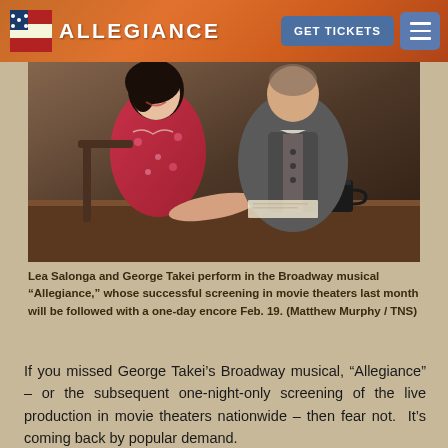ALLEGIANCE | GET TICKETS
[Figure (photo): Two performers on stage in the Broadway musical Allegiance — a woman in a red floral dress and a man in a grey vest and shirt, seated at a table with a dark mug, looking at each other and smiling.]
Lea Salonga and George Takei perform in the Broadway musical “Allegiance,” whose successful screening in movie theaters last month will be followed with a one-day encore Feb. 19. (Matthew Murphy / TNS)
If you missed George Takei’s Broadway musical, “Allegiance” – or the subsequent one-night-only screening of the live production in movie theaters nationwide – then fear not.  It’s coming back by popular demand.